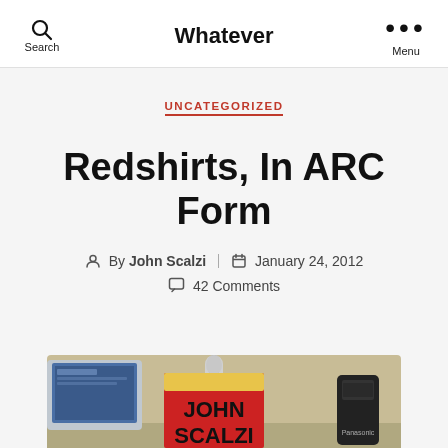Search  Whatever  Menu
UNCATEGORIZED
Redshirts, In ARC Form
By John Scalzi  January 24, 2012
42 Comments
[Figure (photo): Photo of a red book with 'JOHN SCALZI' text visible on the cover, set on a desk with a laptop, microphone, and a Panasonic phone in the background.]